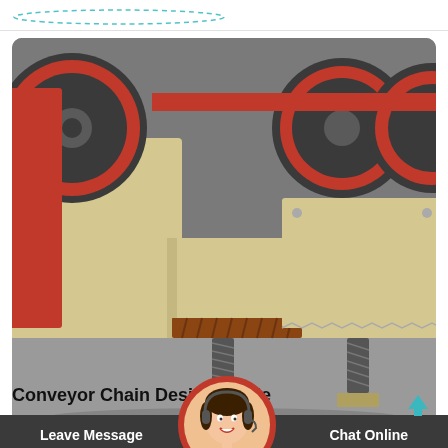[Figure (photo): Industrial vibratory feeder / jaw crusher equipment in a factory floor, cream/yellow colored heavy machinery with large black flywheels, red frame elements, coil spring supports, multiple units in background]
[Figure (other): Upload/share icon - upward arrow with horizontal base line, teal/cyan color]
Conveyor Chain Design Guide
[Figure (photo): Customer service agent overlay - woman with headset smiling, circular portrait with red border]
For the great majority of applications, Renold conveyor chain in its many variations when fitted with suitable attachments provides a
Leave Message    Chat Online